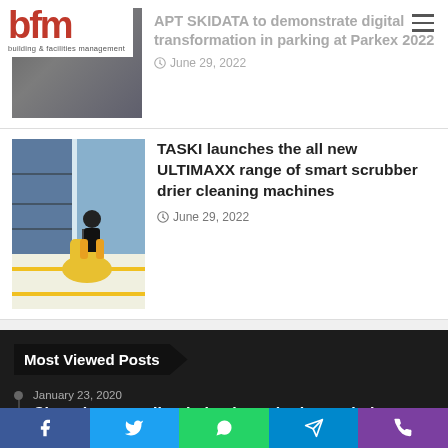[Figure (logo): BFM (Building & Facilities Management) logo with red bold letters 'bfm' and subtitle 'building & facilities management']
APT SKIDATA to demonstrate digital transformation in parking at Parkex 2022
June 29, 2022
[Figure (photo): Photo of a person on a yellow cleaning machine in a warehouse setting]
TASKI launches the all new ULTIMAXX range of smart scrubber drier cleaning machines
June 29, 2022
Most Viewed Posts
January 23, 2020
Changing recycling behaviours in the workplace
February 6, 2019